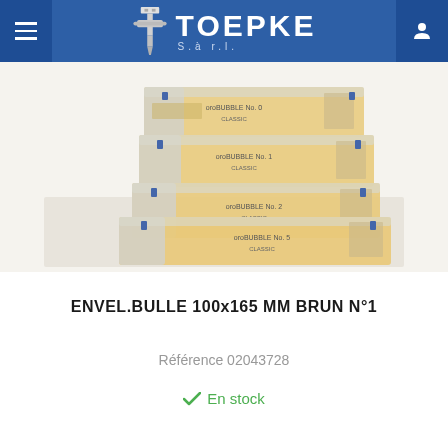TOEPKE S.à r.l.
[Figure (photo): Product photo showing four tan/brown bubble mailer envelopes of different sizes stacked and fanned out on a light background. Each envelope has printed text and a barcode strip.]
ENVEL.BULLE 100x165 MM BRUN N°1
Référence 02043728
En stock